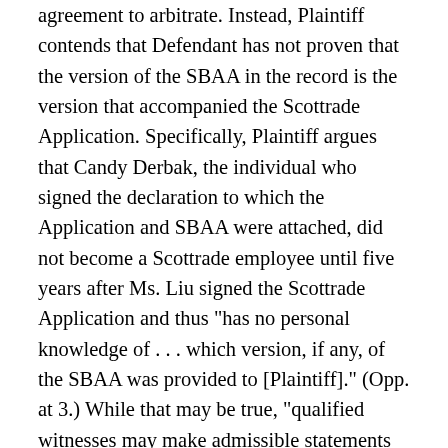agreement to arbitrate. Instead, Plaintiff contends that Defendant has not proven that the version of the SBAA in the record is the version that accompanied the Scottrade Application. Specifically, Plaintiff argues that Candy Derbak, the individual who signed the declaration to which the Application and SBAA were attached, did not become a Scottrade employee until five years after Ms. Liu signed the Scottrade Application and thus "has no personal knowledge of . . . which version, if any, of the SBAA was provided to [Plaintiff]." (Opp. at 3.) While that may be true, "qualified witnesses may make admissible statements based on their review of business records." Kernaghan v. Forster & Garbus, LLP, No. 18-CV-0204 (SFJ), 2019 WL 981640, at *4 (E.D.N.Y. Feb. 25, 2019); see also Fed. R. Evid. 803(6)(b). Even a cursory review of Ms. Derbak's declaration makes clear that she has amply satisfied the requirements of the